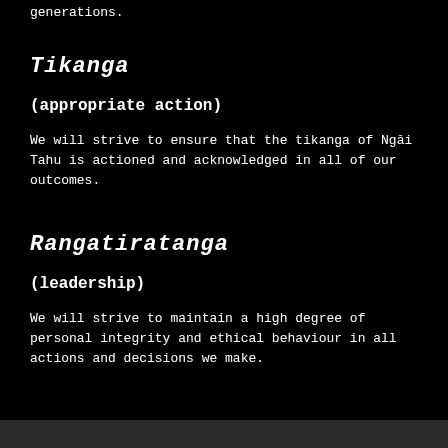generations.
Tikanga
(appropriate action)
We will strive to ensure that the tikanga of Ngāi Tahu is actioned and acknowledged in all of our outcomes.
Rangatiratanga
(leadership)
We will strive to maintain a high degree of personal integrity and ethical behaviour in all actions and decisions we make.